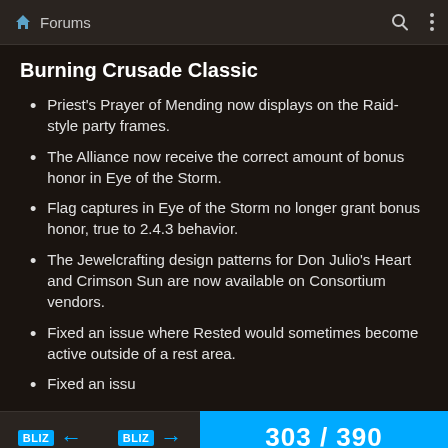Forums
Burning Crusade Classic
Priest's Prayer of Mending now displays on the Raid-style party frames.
The Alliance now receive the correct amount of bonus honor in Eye of the Storm.
Flag captures in Eye of the Storm no longer grant bonus honor, true to 2.4.3 behavior.
The Jewelcrafting design patterns for Don Julio's Heart and Crimson Sun are now available on Consortium vendors.
Fixed an issue where Rested would sometimes become active outside of a rest area.
Fixed an issu
303 / 390